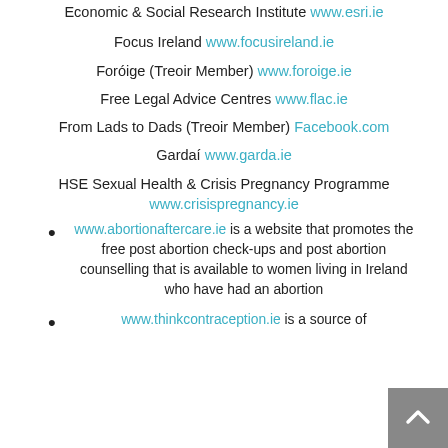Economic & Social Research Institute www.esri.ie
Focus Ireland www.focusireland.ie
Foróige (Treoir Member) www.foroige.ie
Free Legal Advice Centres www.flac.ie
From Lads to Dads (Treoir Member) Facebook.com
Gardaí www.garda.ie
HSE Sexual Health & Crisis Pregnancy Programme www.crisispregnancy.ie
www.abortionaftercare.ie is a website that promotes the free post abortion check-ups and post abortion counselling that is available to women living in Ireland who have had an abortion
www.thinkcontraception.ie is a source of